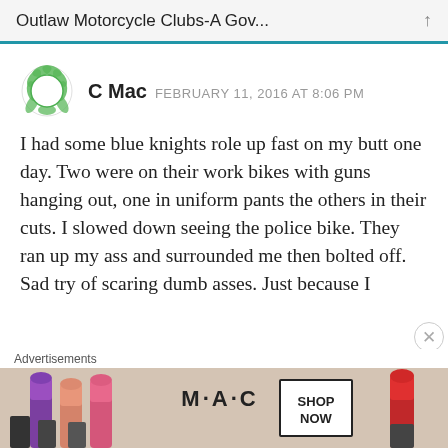Outlaw Motorcycle Clubs-A Gov...
[Figure (illustration): Green laurel wreath circle avatar icon for user C Mac]
C Mac  FEBRUARY 11, 2016 AT 8:06 PM
I had some blue knights role up fast on my butt one day. Two were on their work bikes with guns hanging out, one in uniform pants the others in their cuts. I slowed down seeing the police bike. They ran up my ass and surrounded me then bolted off. Sad try of scaring dumb asses. Just because I
Advertisements
[Figure (photo): M·A·C cosmetics advertisement showing lipsticks (purple, peach, pink, red) with M·A·C logo and SHOP NOW button]